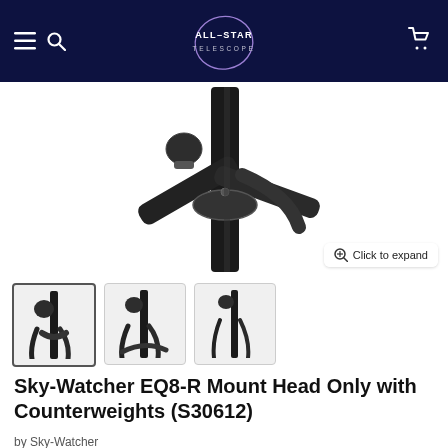[Figure (logo): All-Star Telescope logo with circle and star text on dark navy background]
[Figure (photo): Close-up photo of Sky-Watcher EQ8-R telescope mount head showing black metal tripod arm joints and central column]
[Figure (photo): Three thumbnail images of the Sky-Watcher EQ8-R mount, first thumbnail is selected/active]
Sky-Watcher EQ8-R Mount Head Only with Counterweights (S30612)
by Sky-Watcher